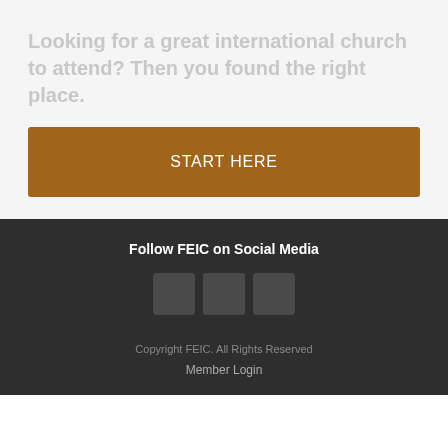Looking for a great international church to attend? Then you found the right place.
START HERE
Follow FEIC on Social Media
[Figure (other): Three social media icon placeholder boxes in dark gray]
Copyright FEIC. All Rights Reserved
Member Login